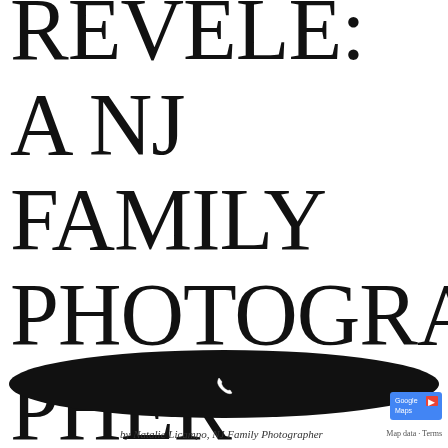REVELE: A NJ FAMILY PHOTOGRAPHER
[Figure (other): Black oval shape at bottom of page with a phone/call icon, resembling a Google Maps interface element. Byline reads: by Natalie Licampo, NJ Family Photographer]
by Natalie Licampo, NJ Family Photographer